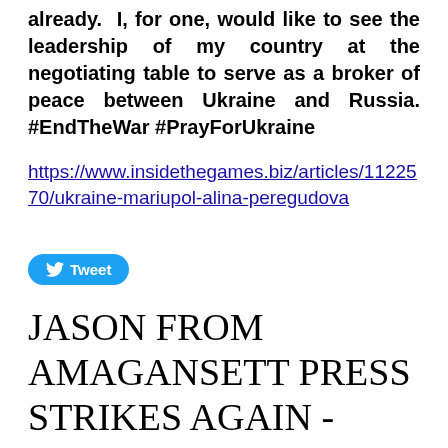already.  I, for one, would like to see the leadership of my country at the negotiating table to serve as a broker of peace between Ukraine and Russia. #EndTheWar #PrayForUkraine
https://www.insidethegames.biz/articles/1122570/ukraine-mariupol-alina-peregudova
Tweet
JASON FROM AMAGANSETT PRESS STRIKES AGAIN - AND MY COMMENTARY ON THE DYSFUNCTION OF PUBLIC